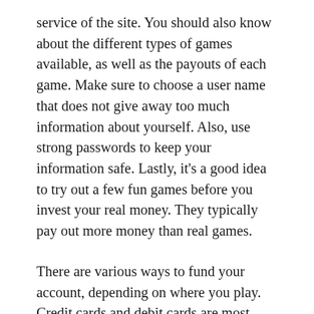service of the site. You should also know about the different types of games available, as well as the payouts of each game. Make sure to choose a user name that does not give away too much information about yourself. Also, use strong passwords to keep your information safe. Lastly, it's a good idea to try out a few fun games before you invest your real money. They typically pay out more money than real games.
There are various ways to fund your account, depending on where you play. Credit cards and debit cards are most common. When you sign up, you'll be asked to enter your card details and the amount you wish to deposit. Then, you'll be able to watch your spending. You can even opt for the option of using a pre-paid card. Just be sure to check your bank's rules